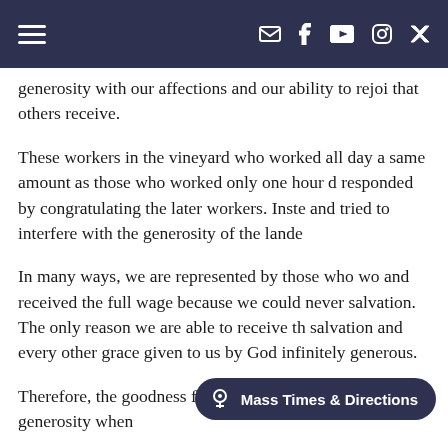Navigation bar with hamburger menu and social/contact icons
generosity with our affections and our ability to rejoice that others receive.
These workers in the vineyard who worked all day and received the same amount as those who worked only one hour did not responded by congratulating the later workers. Instead they tried to interfere with the generosity of the lando...
In many ways, we are represented by those who wo... and received the full wage because we could never... salvation. The only reason we are able to receive th... salvation and every other grace given to us by God... infinitely generous.
Therefore, the goodness... hu... focus, and we must rejoice in that generosity when...
[Figure (other): Mass Times & Directions button/toast overlay at bottom right]